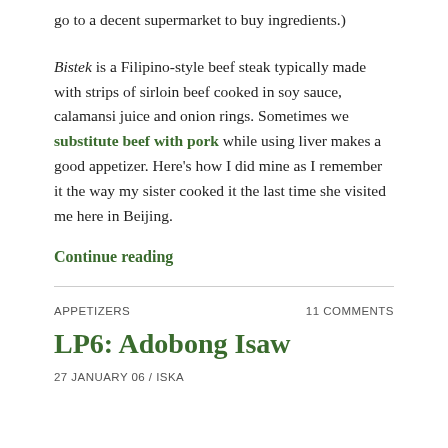go to a decent supermarket to buy ingredients.)
Bistek is a Filipino-style beef steak typically made with strips of sirloin beef cooked in soy sauce, calamansi juice and onion rings. Sometimes we substitute beef with pork while using liver makes a good appetizer. Here's how I did mine as I remember it the way my sister cooked it the last time she visited me here in Beijing.
Continue reading
APPETIZERS
11 COMMENTS
LP6: Adobong Isaw
27 JANUARY 06 / ISKA